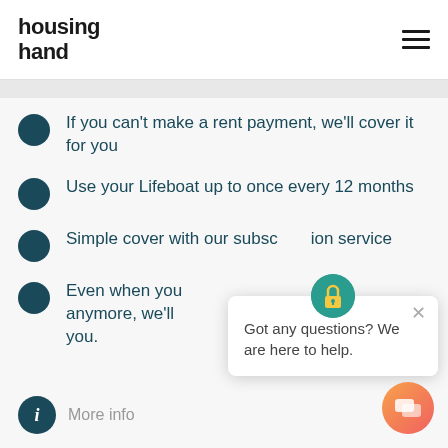housing hand
If you can't make a rent payment, we'll cover it for you
Use your Lifeboat up to once every 12 months
Simple cover with our subscription service
Even when you anymore, we'll you.
More info
Got any questions? We are here to help.